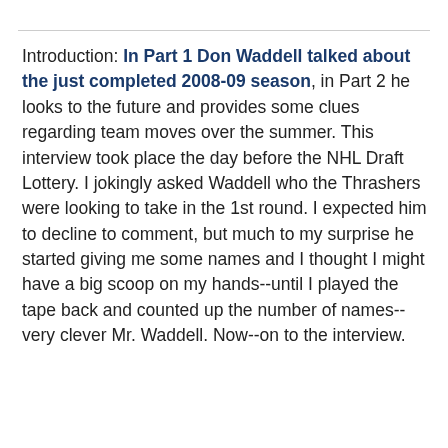Introduction: In Part 1 Don Waddell talked about the just completed 2008-09 season, in Part 2 he looks to the future and provides some clues regarding team moves over the summer. This interview took place the day before the NHL Draft Lottery. I jokingly asked Waddell who the Thrashers were looking to take in the 1st round. I expected him to decline to comment, but much to my surprise he started giving me some names and I thought I might have a big scoop on my hands--until I played the tape back and counted up the number of names--very clever Mr. Waddell. Now--on to the interview.